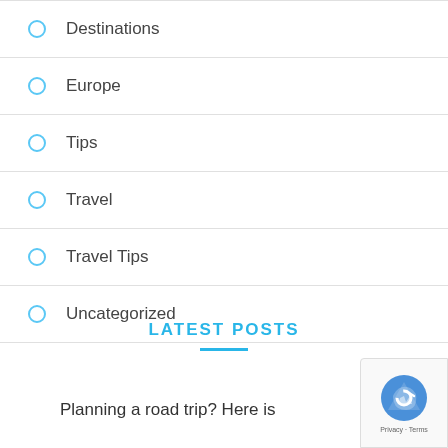Destinations
Europe
Tips
Travel
Travel Tips
Uncategorized
LATEST POSTS
Planning a road trip? Here is